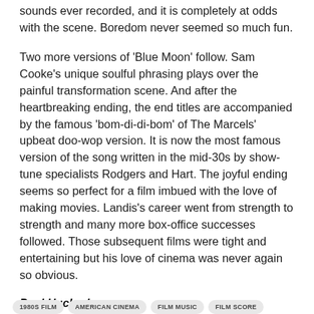sounds ever recorded, and it is completely at odds with the scene. Boredom never seemed so much fun.
Two more versions of 'Blue Moon' follow. Sam Cooke's unique soulful phrasing plays over the painful transformation scene. And after the heartbreaking ending, the end titles are accompanied by the famous 'bom-di-di-bom' of The Marcels' upbeat doo-wop version. It is now the most famous version of the song written in the mid-30s by show-tune specialists Rodgers and Hart. The joyful ending seems so perfect for a film imbued with the love of making movies. Landis's career went from strength to strength and many more box-office successes followed. Those subsequent films were tight and entertaining but his love of cinema was never again so obvious.
Paul Huckerby
1980S FILM  •  AMERICAN CINEMA  •  FILM MUSIC  •  FILM SCORE